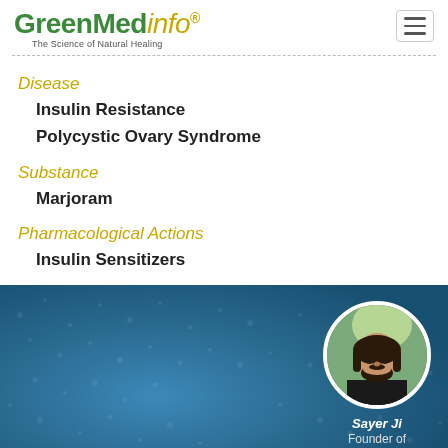GreenMedInfo — The Science of Natural Healing
Disease
Insulin Resistance
Polycystic Ovary Syndrome
Substance
Marjoram
Pharmacological Actions
Insulin Sensitizers
[Figure (illustration): Subscribe to our informative Newsletter & section with a photo of Sayer Ji, Founder of GreenMedInfo, in a circular avatar on a blue textured background.]